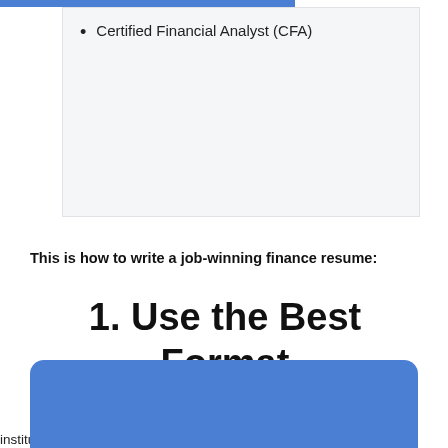Certified Financial Analyst (CFA)
This is how to write a job-winning finance resume:
1. Use the Best Format
This site uses cookies to ensure you get the best experience on our website. To learn more visit our Privacy Policy
Peo
institutions to service and counsel individual and